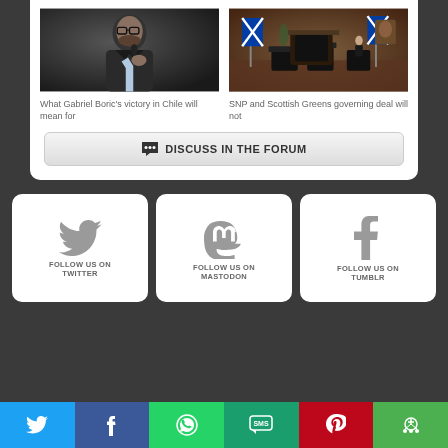[Figure (photo): Photo of Gabriel Boric speaking at a microphone, wearing a suit]
What Gabriel Boric's victory in Chile will mean for
[Figure (photo): Photo of SNP event with Scottish flags in a formal room]
SNP and Scottish Greens governing deal will not
DISCUSS IN THE FORUM
[Figure (logo): Twitter bird logo with text FOLLOW US ON TWITTER]
[Figure (logo): Mastodon logo with text FOLLOW US ON MASTODON]
[Figure (logo): Tumblr logo with text FOLLOW US ON TUMBLR]